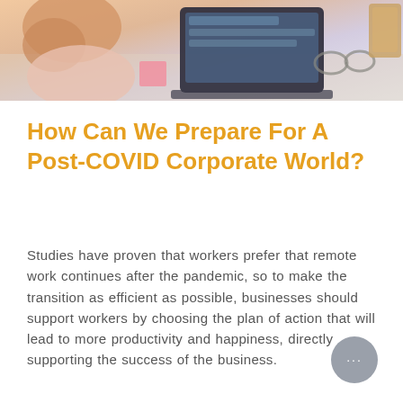[Figure (photo): Banner photo showing a person working at a laptop on a desk, viewed from above/side angle, with glasses and pink sticky notes visible]
How Can We Prepare For A Post-COVID Corporate World?
Studies have proven that workers prefer that remote work continues after the pandemic, so to make the transition as efficient as possible, businesses should support workers by choosing the plan of action that will lead to more productivity and happiness, directly supporting the success of the business.